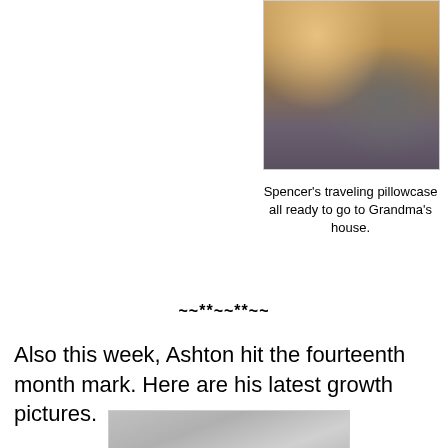[Figure (photo): Photo of Spencer's traveling pillowcase filled with items, standing next to a child's legs in grey pants]
Spencer's traveling pillowcase all ready to go to Grandma's house.
~~**~~**~~
Also this week, Ashton hit the fourteenth month mark. Here are his latest growth pictures.
[Figure (photo): Partially visible photo below the text, showing a grey/silver background]